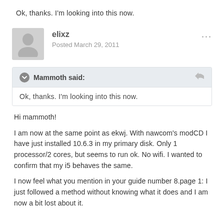Ok, thanks. I'm looking into this now.
elixz
Posted March 29, 2011
Mammoth said:
Ok, thanks. I'm looking into this now.
Hi mammoth!

I am now at the same point as ekwj. With nawcom's modCD I have just installed 10.6.3 in my primary disk. Only 1 processor/2 cores, but seems to run ok. No wifi. I wanted to confirm that my i5 behaves the same.

I now feel what you mention in your guide number 8.page 1: I just followed a method without knowing what it does and I am now a bit lost about it.